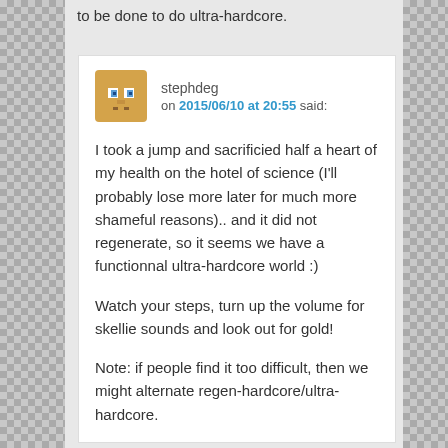to be done to do ultra-hardcore.
stephdeg on 2015/06/10 at 20:55 said:
I took a jump and sacrificied half a heart of my health on the hotel of science (I'll probably lose more later for much more shameful reasons).. and it did not regenerate, so it seems we have a functionnal ultra-hardcore world :)
Watch your steps, turn up the volume for skellie sounds and look out for gold!
Note: if people find it too difficult, then we might alternate regen-hardcore/ultra-hardcore.